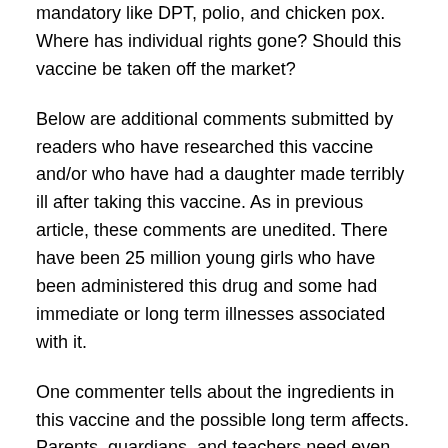mandatory like DPT, polio, and chicken pox. Where has individual rights gone? Should this vaccine be taken off the market?
Below are additional comments submitted by readers who have researched this vaccine and/or who have had a daughter made terribly ill after taking this vaccine. As in previous article, these comments are unedited. There have been 25 million young girls who have been administered this drug and some had immediate or long term illnesses associated with it.
One commenter tells about the ingredients in this vaccine and the possible long term affects. Parents, guardians, and teachers need even more to encourage these young women to practice chastity in an effort to stem cervical cancer caused by HPV. I want to thank these individuals who have come forth to share their information and their